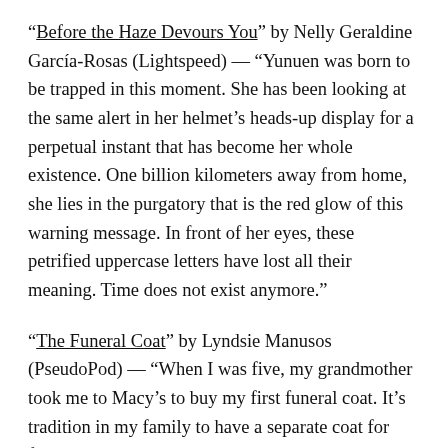“Before the Haze Devours You” by Nelly Geraldine García-Rosas (Lightspeed) — “Yunuen was born to be trapped in this moment. She has been looking at the same alert in her helmet’s heads-up display for a perpetual instant that has become her whole existence. One billion kilometers away from home, she lies in the purgatory that is the red glow of this warning message. In front of her eyes, these petrified uppercase letters have lost all their meaning. Time does not exist anymore.”
“The Funeral Coat” by Lyndsie Manusos (PseudoPod) — “When I was five, my grandmother took me to Macy’s to buy my first funeral coat. It’s tradition in my family to have a separate coat for funerals. Something black, sleek, with sharp edges and elaborate buttons. A coat with high collars, to hide our pulse and the tender arc of throat to shoulder.”